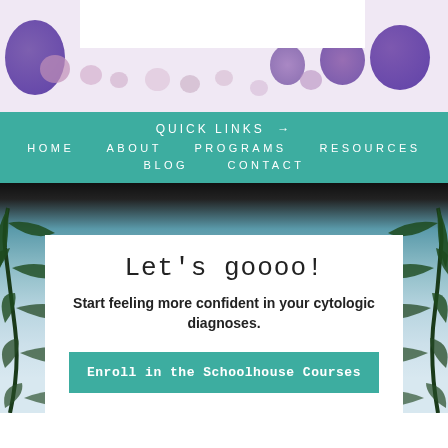[Figure (photo): Microscopy image showing purple-stained cells on a light background, characteristic of cytology/histology slide]
QUICK LINKS →
HOME   ABOUT   PROGRAMS   RESOURCES
BLOG   CONTACT
[Figure (photo): Beach scene with palm leaves on left and right, ocean and sky in background, white promotional card overlaid in center]
Let's goooo!
Start feeling more confident in your cytologic diagnoses.
Enroll in the Schoolhouse Courses